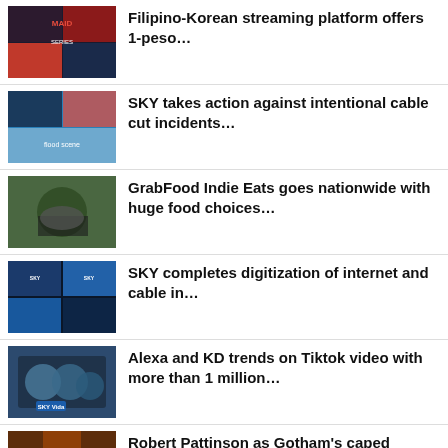Filipino-Korean streaming platform offers 1-peso…
SKY takes action against intentional cable cut incidents…
GrabFood Indie Eats goes nationwide with huge food choices…
SKY completes digitization of internet and cable in…
Alexa and KD trends on Tiktok video with more than 1 million…
Robert Pattinson as Gotham's caped crusader Batman…